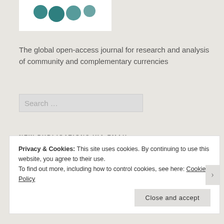[Figure (logo): IJCCR logo with teal circles on white background]
The global open-access journal for research and analysis of community and complementary currencies
NEW PUBLICATIONS VIA EMAIL
Enter your email address to be notified of new IJCCR post and publications.
Privacy & Cookies: This site uses cookies. By continuing to use this website, you agree to their use.
To find out more, including how to control cookies, see here: Cookie Policy
Close and accept